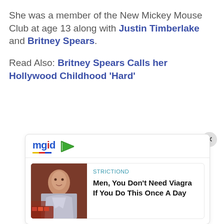She was a member of the New Mickey Mouse Club at age 13 along with Justin Timberlake and Britney Spears.
Read Also: Britney Spears Calls her Hollywood Childhood 'Hard'
[Figure (screenshot): MGID advertisement widget containing a sponsored content card for STRICTIOND with headline: Men, You Don't Need Viagra If You Do This Once A Day]
STRICTIOND
Men, You Don't Need Viagra If You Do This Once A Day